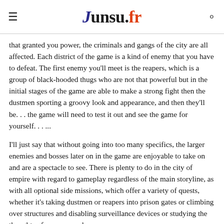Junsu.fr
that granted you power, the criminals and gangs of the city are all affected. Each district of the game is a kind of enemy that you have to defeat. The first enemy you'll meet is the reapers, which is a group of black-hooded thugs who are not that powerful but in the initial stages of the game are able to make a strong fight then the dustmen sporting a groovy look and appearance, and then they'll be. . . the game will need to test it out and see the game for yourself. . . ...
I'll just say that without going into too many specifics, the larger enemies and bosses later on in the game are enjoyable to take on and are a spectacle to see. There is plenty to do in the city of empire with regard to gameplay regardless of the main storyline, as with all optional side missions, which offer a variety of quests, whether it's taking dustmen or reapers into prison gates or climbing over structures and disabling surveillance devices or studying the thoughts of an enemy who